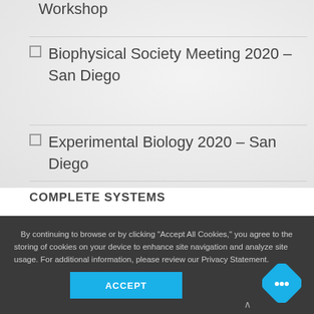Workshop
Biophysical Society Meeting 2020 – San Diego
Experimental Biology 2020 – San Diego
COMPLETE SYSTEMS
By continuing to browse or by clicking "Accept All Cookies," you agree to the storing of cookies on your device to enhance site navigation and analyze site usage. For additional information, please review our Privacy Statement.